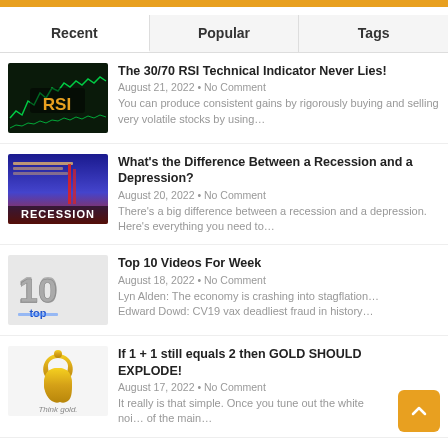Recent | Popular | Tags
[Figure (screenshot): RSI technical indicator chart thumbnail with green candlestick chart and RSI label in gold]
The 30/70 RSI Technical Indicator Never Lies!
August 21, 2022 • No Comment
You can produce consistent gains by rigorously buying and selling very volatile stocks by using…
[Figure (screenshot): Recession thumbnail with blue and red background showing RECESSION text]
What's the Difference Between a Recession and a Depression?
August 20, 2022 • No Comment
There's a big difference between a recession and a depression. Here's everything you need to…
[Figure (illustration): Top 10 silver metallic number illustration on light background]
Top 10 Videos For Week
August 18, 2022 • No Comment
Lyn Alden: The economy is crashing into stagflation…
Edward Dowd: CV19 vax deadliest fraud in history…
[Figure (logo): Gold Apple logo with Think gold text below]
If 1 + 1 still equals 2 then GOLD SHOULD EXPLODE!
August 17, 2022 • No Comment
It really is that simple. Once you tune out the white noise of the main…